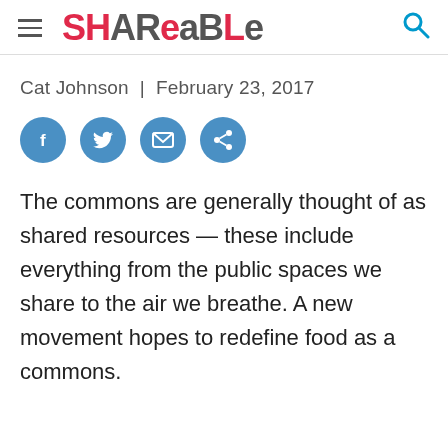Shareable
Cat Johnson  |  February 23, 2017
[Figure (infographic): Four circular social share buttons: Facebook, Twitter, Email, Share]
The commons are generally thought of as shared resources — these include everything from the public spaces we share to the air we breathe. A new movement hopes to redefine food as a commons.